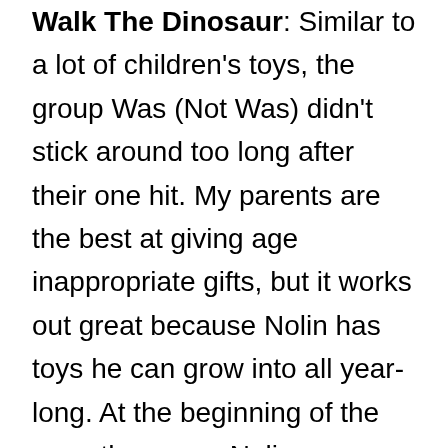Walk The Dinosaur. Similar to a lot of children's toys, the group Was (Not Was) didn't stick around too long after their one hit.  My parents are the best at giving age inappropriate gifts, but it works out great because Nolin has toys he can grow into all year-long.  At the beginning of the year, they gave Nolin a dinosaur walker, and now he loves it. He also loves singing along with the Was (Not Was) classic, Walk The Dinosaur. After just singing it to him once, Nolin began adding in Floor and Dinosaur and then immediately cracked himself up.  While I am sure he is going to be an athlete, I also think he will have an ear for music.  He picks up songs